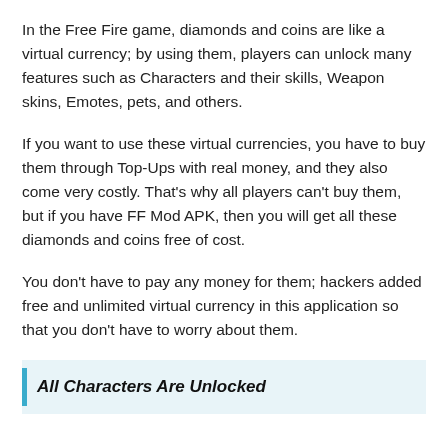In the Free Fire game, diamonds and coins are like a virtual currency; by using them, players can unlock many features such as Characters and their skills, Weapon skins, Emotes, pets, and others.
If you want to use these virtual currencies, you have to buy them through Top-Ups with real money, and they also come very costly. That’s why all players can’t buy them, but if you have FF Mod APK, then you will get all these diamonds and coins free of cost.
You don’t have to pay any money for them; hackers added free and unlimited virtual currency in this application so that you don’t have to worry about them.
All Characters Are Unlocked